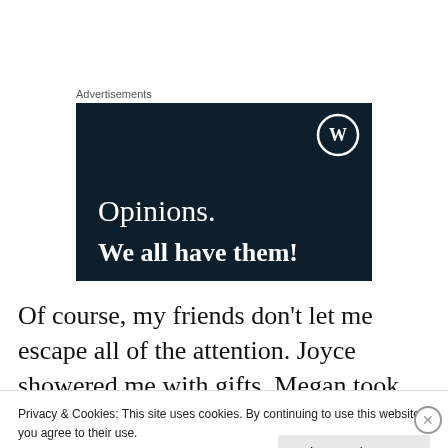Advertisements
[Figure (illustration): WordPress advertisement banner with dark navy background showing text 'Opinions. We all have them!' with WordPress logo in top right corner]
Of course, my friends don't let me escape all of the attention. Joyce showered me with gifts, Megan took me
Privacy & Cookies: This site uses cookies. By continuing to use this website, you agree to their use.
To find out more, including how to control cookies, see here: Cookie Policy
Close and accept